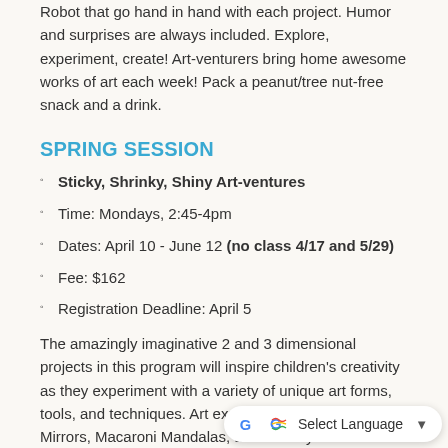Robot that go hand in hand with each project. Humor and surprises are always included. Explore, experiment, create! Art-venturers bring home awesome works of art each week! Pack a peanut/tree nut-free snack and a drink.
SPRING SESSION
Sticky, Shrinky, Shiny Art-ventures
Time: Mondays, 2:45-4pm
Dates: April 10 - June 12 (no class 4/17 and 5/29)
Fee: $162
Registration Deadline: April 5
The amazingly imaginative 2 and 3 dimensional projects in this program will inspire children's creativity as they experiment with a variety of unique art forms, tools, and techniques. Art explorers create Sequin Mirrors, Macaroni Mandalas, and Shrinky Dink Animal